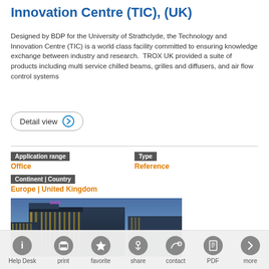Innovation Centre (TIC), (UK)
Designed by BDP for the University of Strathclyde, the Technology and Innovation Centre (TIC) is a world class facility committed to ensuring knowledge exchange between industry and research.  TROX UK provided a suite of products including multi service chilled beams, grilles and diffusers, and air flow control systems
Detail view
Application range
Office
Type
Reference
Continent | Country
Europe | United Kingdom
[Figure (photo): Exterior night view of the Technology and Innovation Centre building, a modern glass-and-steel multi-storey structure with illuminated windows against a blue twilight sky]
Help Desk   print   favorite   share   contact   PDF   more